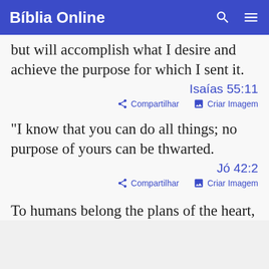Bíblia Online
but will accomplish what I desire and achieve the purpose for which I sent it.
Isaías 55:11
Compartilhar   Criar Imagem
"I know that you can do all things; no purpose of yours can be thwarted.
Jó 42:2
Compartilhar   Criar Imagem
To humans belong the plans of the heart,